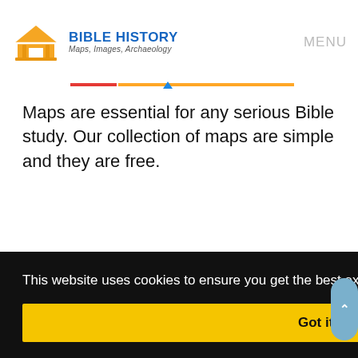BIBLE HISTORY Maps, Images, Archaeology | MENU
Maps are essential for any serious Bible study. Our collection of maps are simple and they are free.
This website uses cookies to ensure you get the best experience on our website. Learn More
Got it!